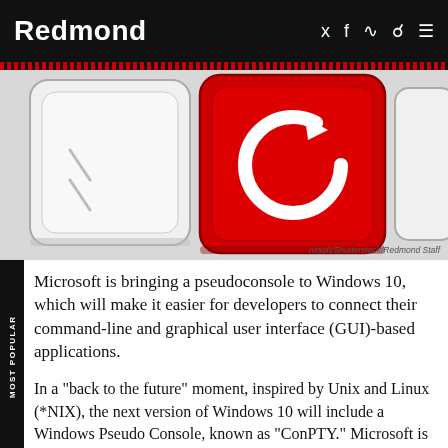Redmond
[Figure (photo): Close-up of keyboard keys on white background, with a red key in the center featuring a white circular refresh/restart arrow icon. Credit: rvisoft/Shutterstock/Redmond Staff]
rvisoft/Shutterstock/Redmond Staff
Microsoft is bringing a pseudoconsole to Windows 10, which will make it easier for developers to connect their command-line and graphical user interface (GUI)-based applications.
In a "back to the future" moment, inspired by Unix and Linux (*NIX), the next version of Windows 10 will include a Windows Pseudo Console, known as "ConPTY." Microsoft is